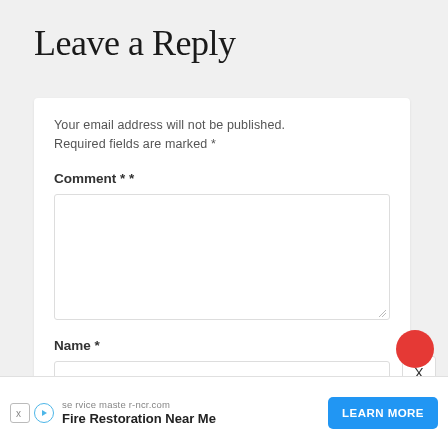Leave a Reply
Your email address will not be published. Required fields are marked *
Comment * *
Name *
se rvice maste r-ncr.com
Fire Restoration Near Me